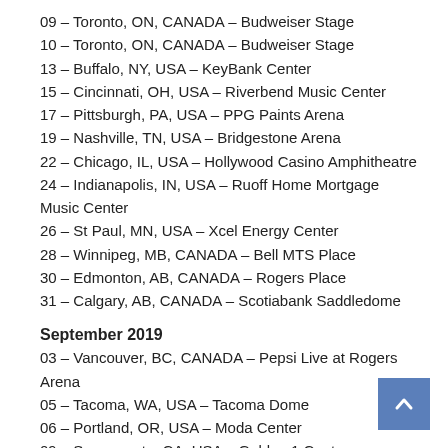09 – Toronto, ON, CANADA – Budweiser Stage
10 – Toronto, ON, CANADA – Budweiser Stage
13 – Buffalo, NY, USA – KeyBank Center
15 – Cincinnati, OH, USA – Riverbend Music Center
17 – Pittsburgh, PA, USA – PPG Paints Arena
19 – Nashville, TN, USA – Bridgestone Arena
22 – Chicago, IL, USA – Hollywood Casino Amphitheatre
24 – Indianapolis, IN, USA – Ruoff Home Mortgage Music Center
26 – St Paul, MN, USA – Xcel Energy Center
28 – Winnipeg, MB, CANADA – Bell MTS Place
30 – Edmonton, AB, CANADA – Rogers Place
31 – Calgary, AB, CANADA – Scotiabank Saddledome
September 2019
03 – Vancouver, BC, CANADA – Pepsi Live at Rogers Arena
05 – Tacoma, WA, USA – Tacoma Dome
06 – Portland, OR, USA – Moda Center
09 – Sacramento, CA, USA – Golden 1 Center
10 – Oakland, CA, USA – Oracle Arena